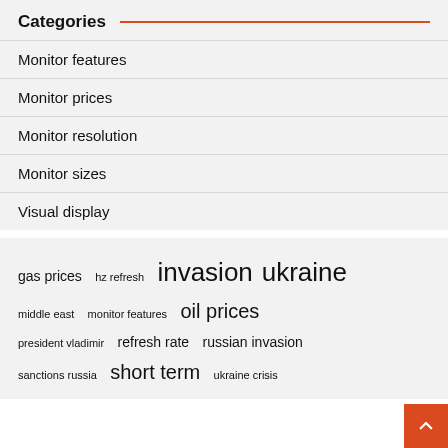Categories
Monitor features
Monitor prices
Monitor resolution
Monitor sizes
Visual display
gas prices  hz refresh  invasion  ukraine  middle east  monitor features  oil prices  president vladimir  refresh rate  russian invasion  sanctions russia  short term  ukraine crisis